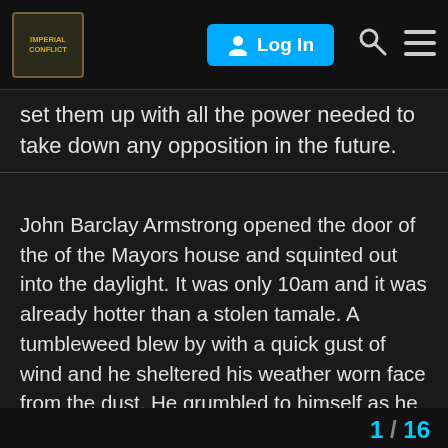Imperial Conflict — Log In
set them up with all the power needed to take down any opposition in the future.
John Barclay Armstrong opened the door of the of the Mayors house and squinted out into the daylight. It was only 10am and it was already hotter than a stolen tamale. A tumbleweed blew by with a quick gust of wind and he sheltered his weather worn face from the dust. He grumbled to himself as he began walking towards the saloon. It was going to be a very long week and he knew that there was bloodshed on the horizon. The Black Hills Bandits had been sneaking members of their gang into the city for months now. They were looking to take over the town and the valuable gold mine it controlled. He knew he needed to root out the gang members. If he failed, he would end up watching everyone in the town, including himself, die. The Black Hills Bandits were renowned for murdering everyone in a town. Their goal was to gain control of the resources that they wanted. They had already accomplished this in 5 other to wanted his.
1 / 16